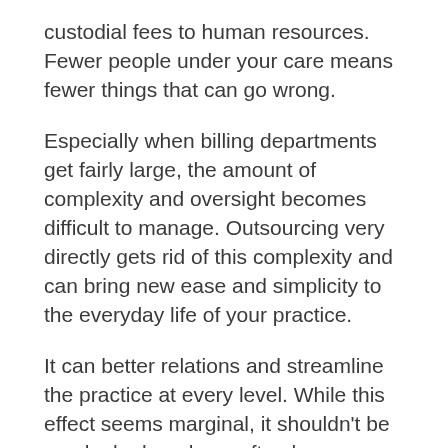custodial fees to human resources. Fewer people under your care means fewer things that can go wrong.
Especially when billing departments get fairly large, the amount of complexity and oversight becomes difficult to manage. Outsourcing very directly gets rid of this complexity and can bring new ease and simplicity to the everyday life of your practice.
It can better relations and streamline the practice at every level. While this effect seems marginal, it shouldn't be overlooked, and can often have a compounding effect on your practice's